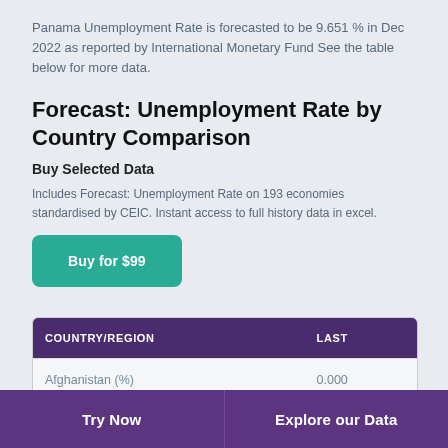Panama Unemployment Rate is forecasted to be 9.651 % in Dec 2022 as reported by International Monetary Fund See the table below for more data.
Forecast: Unemployment Rate by Country Comparison
Buy Selected Data
Includes Forecast: Unemployment Rate on 193 economies standardised by CEIC. Instant access to full history data in excel.
[Figure (other): Buy for $99 button (teal/green rounded rectangle)]
| COUNTRY/REGION | LAST |
| --- | --- |
| Afghanistan (%) | 0.000 |
Try Now
Explore our Data